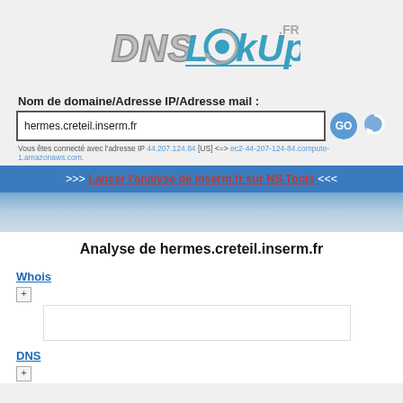[Figure (logo): DNSLookup.fr logo with stylized text]
Nom de domaine/Adresse IP/Adresse mail :
hermes.creteil.inserm.fr (search input)
Vous êtes connecté avec l'adresse IP 44.207.124.84 [US] <=> ec2-44-207-124-84.compute-1.amazonaws.com.
>>> Lancer l'analyse de inserm.fr sur NS.Tools <<<
Analyse de hermes.creteil.inserm.fr
Whois
DNS